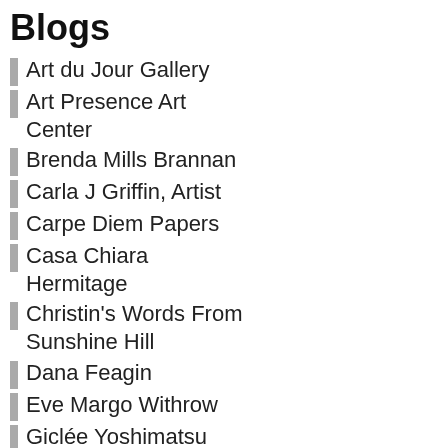Blogs
Art du Jour Gallery
Art Presence Art Center
Brenda Mills Brannan
Carla J Griffin, Artist
Carpe Diem Papers
Casa Chiara Hermitage
Christin's Words From Sunshine Hill
Dana Feagin
Eve Margo Withrow
Giclée Yoshimatsu
Ginna's Café
Hannah West Web Design
http://www.fanningart.com
John Christer's Open Heart
Lacey River Mixed Media *Art*
nArtistsResource, 1888contribute